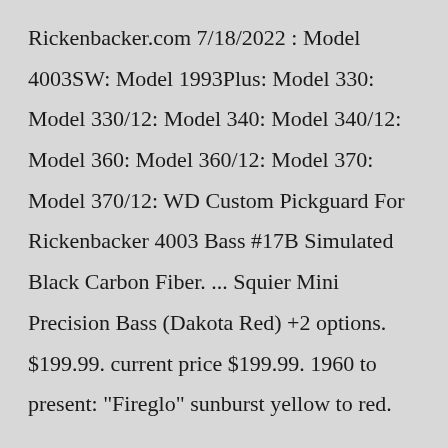Rickenbacker.com 7/18/2022 : Model 4003SW: Model 1993Plus: Model 330: Model 330/12: Model 340: Model 340/12: Model 360: Model 360/12: Model 370: Model 370/12: WD Custom Pickguard For Rickenbacker 4003 Bass #17B Simulated Black Carbon Fiber. ... Squier Mini Precision Bass (Dakota Red) +2 options. $199.99. current price $199.99. 1960 to present: "Fireglo" sunburst yellow to red.